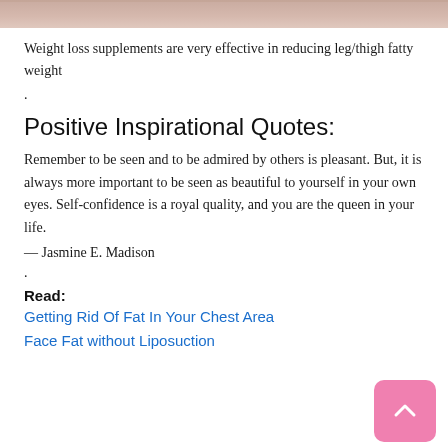[Figure (photo): Partial photo strip showing a person in a pink/beige sweater, cropped at the top of the page]
Weight loss supplements are very effective in reducing leg/thigh fatty weight
.
Positive Inspirational Quotes:
Remember to be seen and to be admired by others is pleasant. But, it is always more important to be seen as beautiful to yourself in your own eyes. Self-confidence is a royal quality, and you are the queen in your life.
— Jasmine E. Madison
.
Read:
Getting Rid Of Fat In Your Chest Area
Face Fat without Liposuction